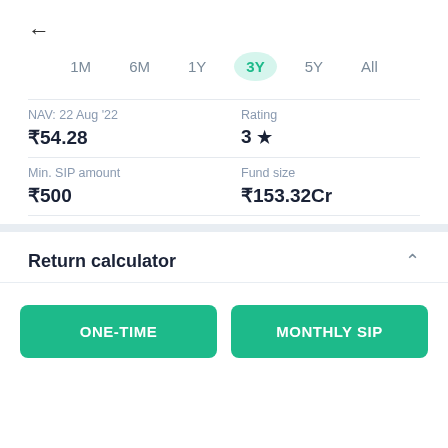←
1M   6M   1Y   3Y (active)   5Y   All
NAV: 22 Aug '22
Rating
₹54.28
3 ★
Min. SIP amount
Fund size
₹500
₹153.32Cr
Return calculator
ONE-TIME
MONTHLY SIP